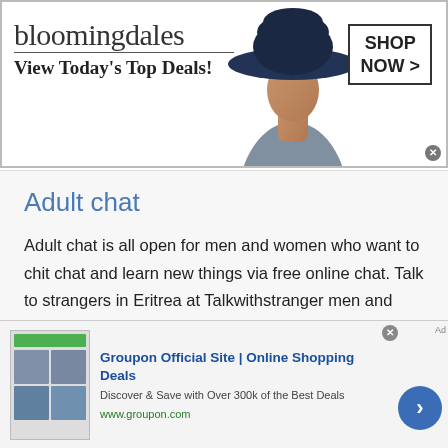[Figure (screenshot): Bloomingdale's advertisement banner: logo text 'bloomingdales', tagline 'View Today's Top Deals!', woman with large hat, 'SHOP NOW >' button in bordered box]
Adult chat
Adult chat is all open for men and women who want to chit chat and learn new things via free online chat. Talk to strangers in Eritrea at Talkwithstranger men and women chat rooms help you connect with the world absolutely free. If you are searching for friends online from different countries then at the TWS country specific chat option you will surely find your best partner
[Figure (screenshot): Groupon ad: thumbnail with green bar and photos, title 'Groupon Official Site | Online Shopping Deals', description 'Discover & Save with Over 300k of the Best Deals', URL 'www.groupon.com', blue circular arrow button]